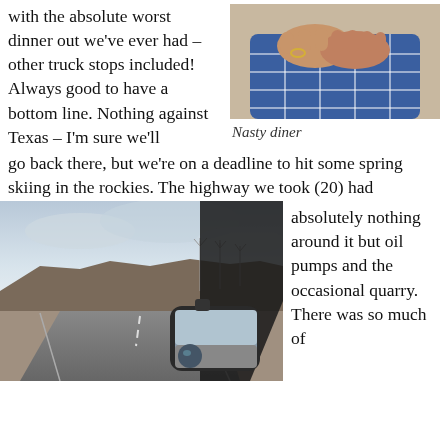with the absolute worst dinner out we've ever had – other truck stops included! Always good to have a bottom line. Nothing against Texas – I'm sure we'll go back there, but we're on a deadline to hit some spring skiing in the rockies.  The highway we took (20) had
[Figure (photo): Close-up photo of an elderly person's hands resting on a table, wearing a plaid blue shirt]
Nasty diner
[Figure (photo): Road trip photo showing a car side mirror and a long empty highway through flat Texas landscape with mesas and wind turbines in the background]
absolutely nothing around it but oil pumps and the occasional quarry. There was so much of